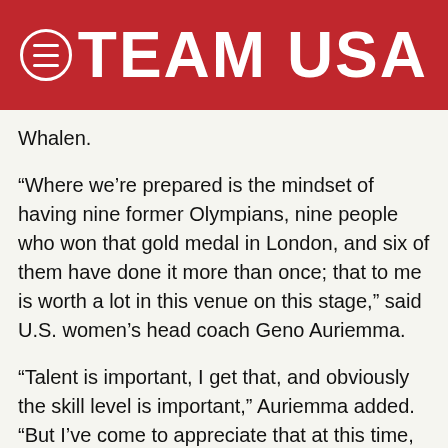TEAM USA
Whalen.
“Where we’re prepared is the mindset of having nine former Olympians, nine people who won that gold medal in London, and six of them have done it more than once; that to me is worth a lot in this venue on this stage,” said U.S. women’s head coach Geno Auriemma.
“Talent is important, I get that, and obviously the skill level is important,” Auriemma added. “But I’ve come to appreciate that at this time, during these next two weeks, experience and the ability to be smarter than the other guy is paramount.”
The U.S. women’s basketball team arrived in Rio after playing the Olympic tournament’s top teams in exhibition